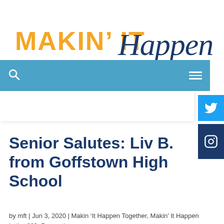[Figure (logo): Makin' It Happen logo — 'MAKIN' IT' in bold yellow uppercase sans-serif, 'Happen' in dark navy italic script font]
[Figure (screenshot): Blue navigation bar with a search (magnifying glass) icon on the left and hamburger menu icon on the right]
[Figure (screenshot): Sidebar social media icons: Twitter bird icon in light blue square, Instagram camera icon in dark navy square]
Senior Salutes: Liv B. from Goffstown High School
by mft | Jun 3, 2020 | Makin 'It Happen Together, Makin' It Happen in the 603, Prevention